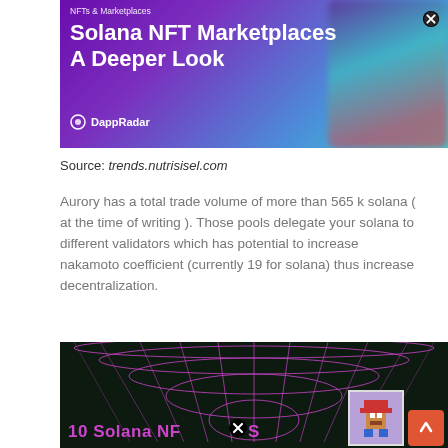[Figure (photo): Banner image for 'Solana NFT Marketplaces A Deeper Look' by DappRadar, with purple gradient background and blurred NFT artwork on the right.]
Source: trends.nutrisisel.com
Aurory has a total trade volume of more than 565 k solana ( at the time of writing ). Those pools delegate your solana to different validators which has potential to increase nakamoto coefficient (currently 19 for solana) thus increase decentralization.
[Figure (photo): Dark background with purple/pink grid sphere wireframe and text '10 Solana NF...S' partially visible, with a pixel art NFT image and orange up-arrow button.]